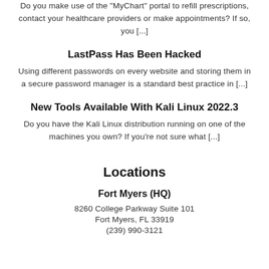Do you make use of the "MyChart" portal to refill prescriptions, contact your healthcare providers or make appointments? If so, you [...]
LastPass Has Been Hacked
Using different passwords on every website and storing them in a secure password manager is a standard best practice in [...]
New Tools Available With Kali Linux 2022.3
Do you have the Kali Linux distribution running on one of the machines you own?  If you're not sure what [...]
Locations
Fort Myers (HQ)
8260 College Parkway Suite 101
Fort Myers, FL 33919
(239) 990-3121